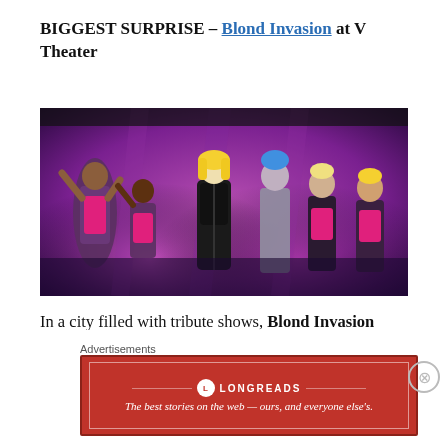BIGGEST SURPRISE – Blond Invasion at V Theater
[Figure (photo): Performers on stage in a theater show. Center performer in black corset outfit with blonde hair, flanked by dancers in pink and black outfits. Purple-lit stage backdrop.]
In a city filled with tribute shows, Blond Invasion (here's my review) had no right to be
Advertisements
[Figure (other): Longreads advertisement banner in red. Logo circle with L, text LONGREADS. Tagline: The best stories on the web — ours, and everyone else's.]